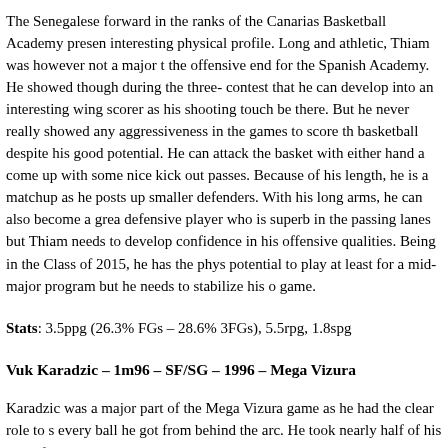The Senegalese forward in the ranks of the Canarias Basketball Academy presents an interesting physical profile. Long and athletic, Thiam was however not a major threat at the offensive end for the Spanish Academy. He showed though during the three-point contest that he can develop into an interesting wing scorer as his shooting touch seems to be there. But he never really showed any aggressiveness in the games to score the basketball despite his good potential. He can attack the basket with either hand and come up with some nice kick out passes. Because of his length, he is a matchup problem as he posts up smaller defenders. With his long arms, he can also become a great defensive player who is superb in the passing lanes but Thiam needs to develop more confidence in his offensive qualities. Being in the Class of 2015, he has the physical potential to play at least for a mid-major program but he needs to stabilize his offensive game.
Stats: 3.5ppg (26.3% FGs – 28.6% 3FGs), 5.5rpg, 1.8spg
Vuk Karadzic – 1m96 – SF/SG – 1996 – Mega Vizura
Karadzic was a major part of the Mega Vizura game as he had the clear role to shoot every ball he got from behind the arc. He took nearly half of his shots from three